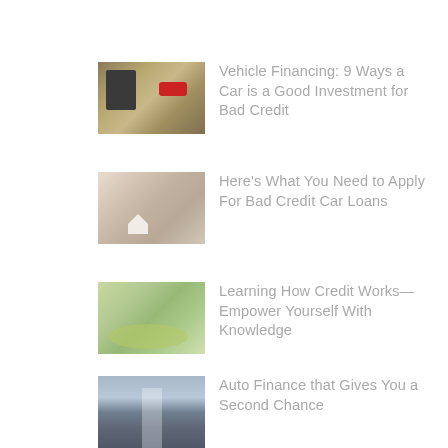[Figure (photo): Photo of calculator and coins with a red toy car on a desk]
Vehicle Financing: 9 Ways a Car is a Good Investment for Bad Credit
[Figure (photo): Photo of hands holding papers and a small house model]
Here’s What You Need to Apply For Bad Credit Car Loans
[Figure (photo): Photo of rolled up papers or money scrolls]
Learning How Credit Works—Empower Yourself With Knowledge
[Figure (photo): Photo of a road stretching into the distance]
Auto Finance that Gives You a Second Chance